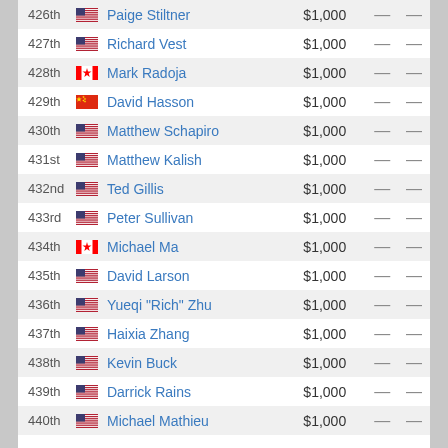| Place | Country | Name | Prize |  |  |
| --- | --- | --- | --- | --- | --- |
| 426th | US | Paige Stiltner | $1,000 | — | — |
| 427th | US | Richard Vest | $1,000 | — | — |
| 428th | CA | Mark Radoja | $1,000 | — | — |
| 429th | CN | David Hasson | $1,000 | — | — |
| 430th | US | Matthew Schapiro | $1,000 | — | — |
| 431st | US | Matthew Kalish | $1,000 | — | — |
| 432nd | US | Ted Gillis | $1,000 | — | — |
| 433rd | US | Peter Sullivan | $1,000 | — | — |
| 434th | CA | Michael Ma | $1,000 | — | — |
| 435th | US | David Larson | $1,000 | — | — |
| 436th | US | Yueqi "Rich" Zhu | $1,000 | — | — |
| 437th | US | Haixia Zhang | $1,000 | — | — |
| 438th | US | Kevin Buck | $1,000 | — | — |
| 439th | US | Darrick Rains | $1,000 | — | — |
| 440th | US | Michael Mathieu | $1,000 | — | — |